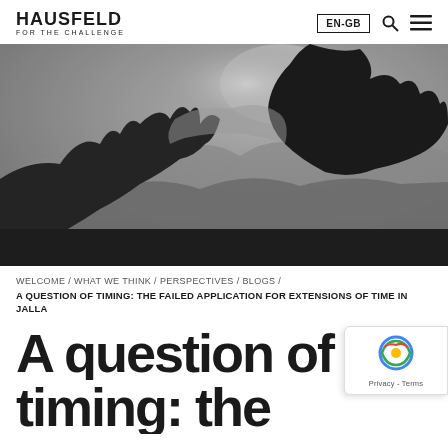HAUSFELD FOR THE CHALLENGE | EN-GB
[Figure (photo): Black and white photo of hands forming a frame/rectangle shape against a misty mountain landscape background]
WELCOME / WHAT WE THINK / PERSPECTIVES / BLOGS /
A QUESTION OF TIMING: THE FAILED APPLICATION FOR EXTENSIONS OF TIME IN JALLA
A question of timing: the